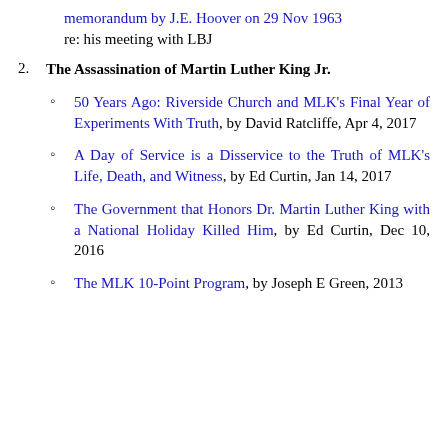memorandum by J.E. Hoover on 29 Nov 1963 re: his meeting with LBJ
2. The Assassination of Martin Luther King Jr.
50 Years Ago: Riverside Church and MLK's Final Year of Experiments With Truth, by David Ratcliffe, Apr 4, 2017
A Day of Service is a Disservice to the Truth of MLK's Life, Death, and Witness, by Ed Curtin, Jan 14, 2017
The Government that Honors Dr. Martin Luther King with a National Holiday Killed Him, by Ed Curtin, Dec 10, 2016
The MLK 10-Point Program, by Joseph E Green, 2013